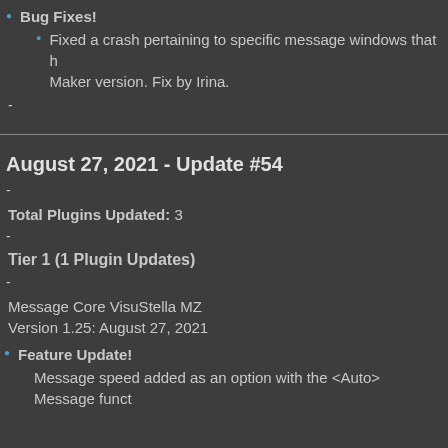Bug Fixes!
Fixed a crash pertaining to specific message windows that happen when using a non-RPG Maker version. Fix by Irina.
-
August 27, 2021 - Update #54
-
Total Plugins Updated: 3
-
Tier 1 (1 Plugin Updates)
-
Message Core VisuStella MZ
Version 1.25: August 27, 2021
Feature Update!
Message speed added as an option with the <Auto> Message function.